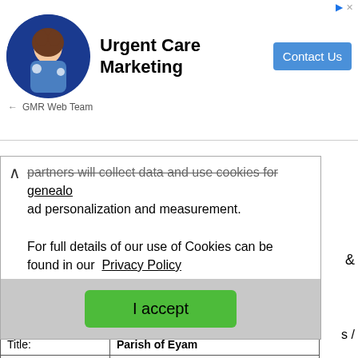[Figure (advertisement): Ad banner for Urgent Care Marketing by GMR Web Team, with photo of person in blue circle, bold title 'Urgent Care Marketing', and 'Contact Us' button]
partners will collect data and use cookies for ad personalization and measurement. For full details of our use of Cookies can be found in our Privacy Policy
I accept
| Classification: | Title: | Link: | Description: |
| --- | --- | --- | --- |
| Classification: | Census, Monumental Inscriptions, Wills / Probate |
| Title: | Parish of Eyam |
| Link: | https://places.wishful-thinking.org.uk/DBY/Eyam/in... |
| Description: | Eyam Parish |
| Classification: | Title: |
| --- | --- |
| Classification: | Baptisms, Burials / Cremations, Census, Marriages, Parish Records |
| Title: | Parish Register and Census Transcripts - A Selection |